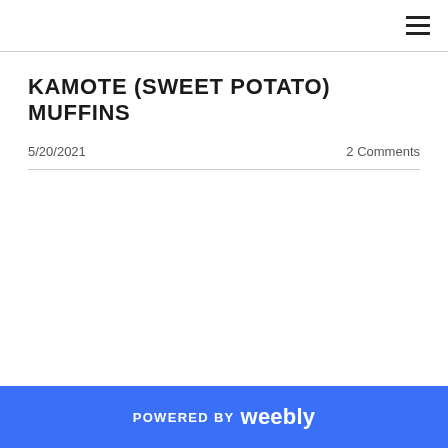KAMOTE (SWEET POTATO) MUFFINS
5/20/2021   2 Comments
POWERED BY weebly